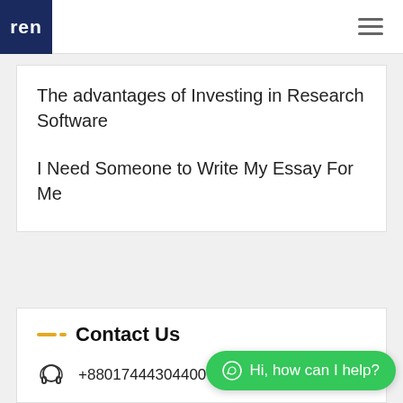ren (logo)
The advantages of Investing in Research Software
I Need Someone to Write My Essay For Me
Contact Us
+88017444304400
Hi, how can I help?